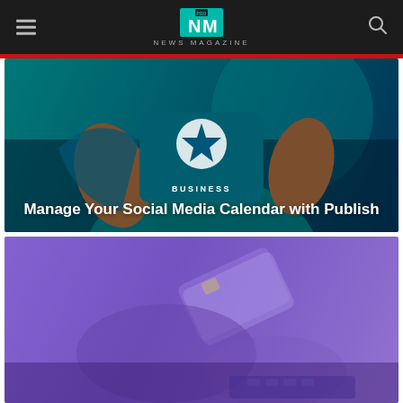NM NEWS MAGAZINE
[Figure (photo): Teal-themed illustration of a person in a jersey with a star, overlaid with category label BUSINESS and article title about social media calendar]
BUSINESS
Manage Your Social Media Calendar with Publish
[Figure (photo): Purple-tinted photo of hands using a credit card and laptop, partially visible, lower card]